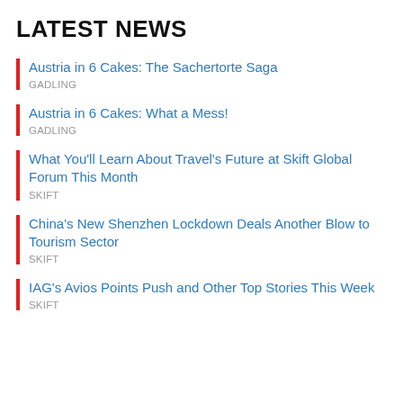LATEST NEWS
Austria in 6 Cakes: The Sachertorte Saga
GADLING
Austria in 6 Cakes: What a Mess!
GADLING
What You'll Learn About Travel's Future at Skift Global Forum This Month
SKIFT
China's New Shenzhen Lockdown Deals Another Blow to Tourism Sector
SKIFT
IAG's Avios Points Push and Other Top Stories This Week
SKIFT